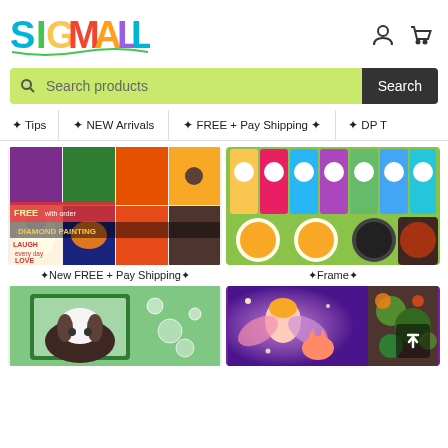[Figure (logo): SIGMALL colorful logo with decorative letters]
Search products
Search
✦ Tips
✦ NEW Arrivals
✦ FREE + Pay Shipping ✦
✦ DP T
[Figure (photo): Grid of diamond painting product images including animals, butterflies, sunflowers, FREE DIAMOND PAINTING text]
✦New FREE + Pay Shipping✦
[Figure (photo): Colorful bookmarks with animal faces, and round sponge/tool accessories on green background]
✦Frame✦
[Figure (photo): Cavalier King Charles Spaniel dog photo in green frame with bubbles]
[Figure (photo): Fairy girl with butterfly wings and cat in purple magical background]